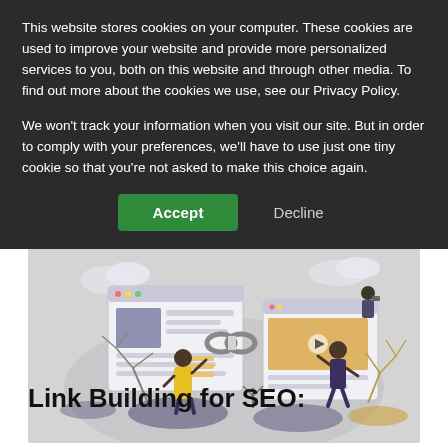This website stores cookies on your computer. These cookies are used to improve your website and provide more personalized services to you, both on this website and through other media. To find out more about the cookies we use, see our Privacy Policy.
We won't track your information when you visit our site. But in order to comply with your preferences, we'll have to use just one tiny cookie so that you're not asked to make this choice again.
Accept | Decline
[Figure (illustration): Flat design illustration of two people building links between two browser windows, with chain links in the center, decorative plants around, on a grey elliptical background.]
Link Building for SEO: